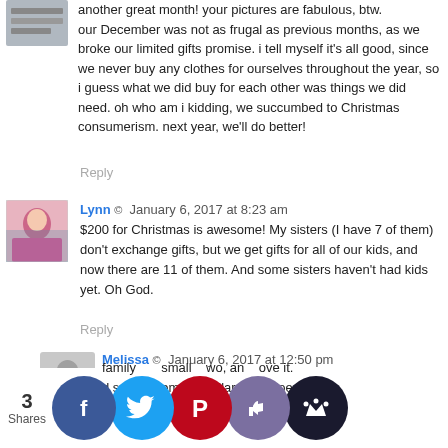[Figure (photo): Small thumbnail avatar image at top left, partially visible, showing stacked books or similar items]
another great month! your pictures are fabulous, btw. our December was not as frugal as previous months, as we broke our limited gifts promise. i tell myself it's all good, since we never buy any clothes for ourselves throughout the year, so i guess what we did buy for each other was things we did need. oh who am i kidding, we succumbed to Christmas consumerism. next year, we'll do better!
Reply
[Figure (photo): Avatar photo of Lynn, a person outdoors with a pink top and scenic background]
Lynn  ©  January 6, 2017 at 8:23 am
$200 for Christmas is awesome! My sisters (I have 7 of them) don't exchange gifts, but we get gifts for all of our kids, and now there are 11 of them. And some sisters haven't had kids yet. Oh God.
Reply
[Figure (photo): Generic gray avatar placeholder silhouette icon for Melissa]
Melissa  ©  January 6, 2017 at 12:50 pm
Maybe make each child a stocking and just buy a small gift that fits in the stocking. We do this with the grandchildren- family small two, an ove it. d small tems a dollar st t does
[Figure (infographic): Social sharing bar with 3 Shares count and 5 circular social media buttons: Facebook (blue), Twitter (light blue), Pinterest (red), Like/thumbs up (purple), Crown (dark navy)]